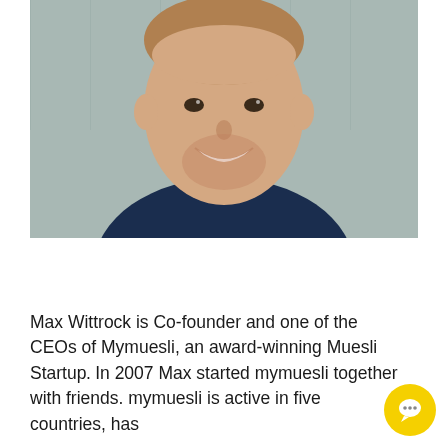[Figure (photo): Headshot photo of Max Wittrock, a smiling man with short brown hair and a beard, wearing a dark navy blue t-shirt, photographed against a light teal/grey background.]
Max Wittrock is Co-founder and one of the CEOs of Mymuesli, an award-winning Muesli Startup. In 2007 Max started mymuesli together with friends. mymuesli is active in five countries, has